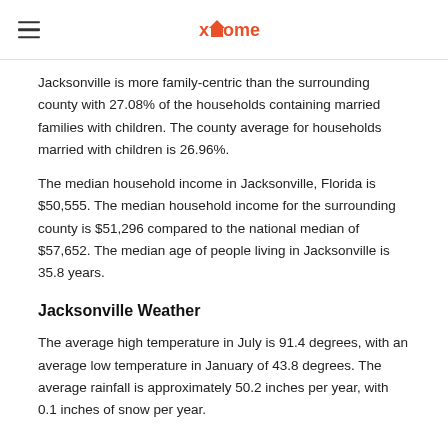xome
Jacksonville is more family-centric than the surrounding county with 27.08% of the households containing married families with children. The county average for households married with children is 26.96%.
The median household income in Jacksonville, Florida is $50,555. The median household income for the surrounding county is $51,296 compared to the national median of $57,652. The median age of people living in Jacksonville is 35.8 years.
Jacksonville Weather
The average high temperature in July is 91.4 degrees, with an average low temperature in January of 43.8 degrees. The average rainfall is approximately 50.2 inches per year, with 0.1 inches of snow per year.